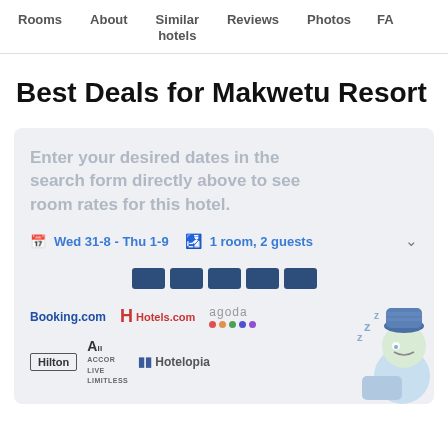Rooms | About | Similar hotels | Reviews | Photos | FA...
Best Deals for Makwetu Resort
[Figure (screenshot): Hotel booking widget with message 'Enter your desired dates in the search form directly above to see room rates for this hotel.' Date selector showing Wed 31-8 - Thu 1-9, 1 room, 2 guests. Loading bar placeholder. Logos for Booking.com, Hotels.com, agoda, Hilton, Accor All Live Limitless, Hotelopia, and a sleeping cartoon character.]